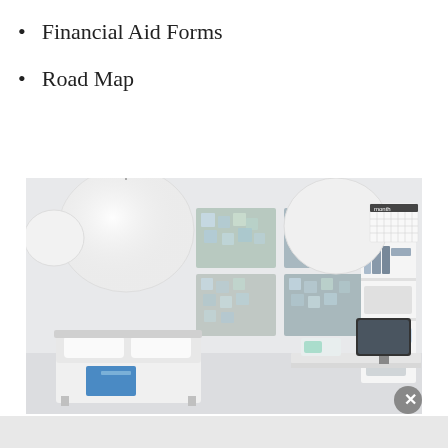Financial Aid Forms
Road Map
[Figure (photo): A bright, organized dorm room with white lantern lights, bulletin boards covered in colorful sticky notes, a neatly made bed, a white bookshelf with books and storage boxes, a desk with a computer monitor, and a wall calendar.]
Advertisements